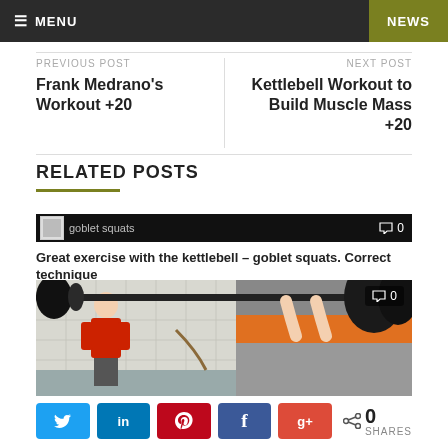MENU  NEWS
PREVIOUS POST
Frank Medrano's Workout +20
NEXT POST
Kettlebell Workout to Build Muscle Mass +20
RELATED POSTS
[Figure (screenshot): Black banner with small goblet squats thumbnail image, text 'goblet squats', and comment count 0]
Great exercise with the kettlebell – goblet squats. Correct technique
[Figure (photo): Gym photo showing a barbell being lifted overhead with weight plates, a man in a red shirt in the background, and a whiteboard; comment count 0 overlay]
0 SHARES